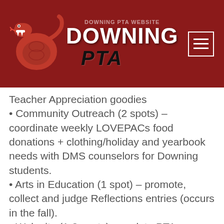[Figure (logo): Downing PTA logo with red snake mascot on dark red header background, with hamburger menu icon in top right]
Teacher Appreciation goodies
Community Outreach (2 spots) – coordinate weekly LOVEPACs food donations + clothing/holiday and yearbook needs with DMS counselors for Downing students.
Arts in Education (1 spot) – promote, collect and judge Reflections entries (occurs in the fall).
Web site (1-2 spots) – update PTA website, currently being redesigned for easy layperson use.
Text President Tish Raymond at 713-855-2359 if